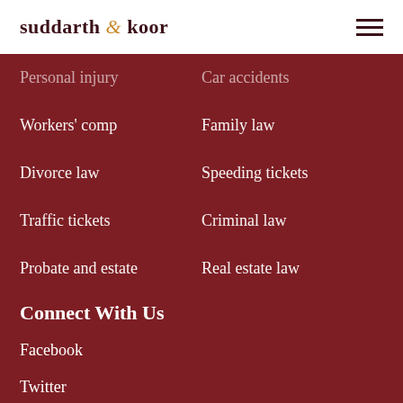suddarth & koor
Personal injury
Car accidents
Workers' comp
Family law
Divorce law
Speeding tickets
Traffic tickets
Criminal law
Probate and estate
Real estate law
Connect With Us
Facebook
Twitter
Google Maps